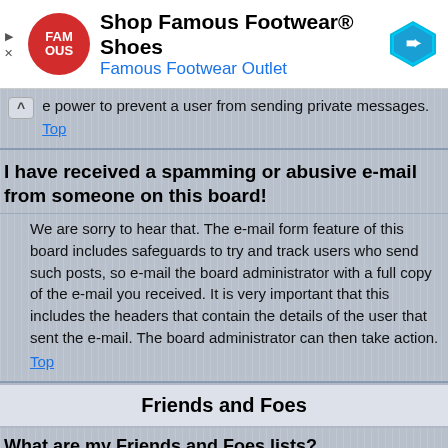[Figure (other): Advertisement banner for Famous Footwear Shoes with red circular logo, arrow navigation icon, and text 'Shop Famous Footwear® Shoes / Famous Footwear Outlet']
regular user, inform a board administrator, they have the power to prevent a user from sending private messages.
Top
I have received a spamming or abusive e-mail from someone on this board!
We are sorry to hear that. The e-mail form feature of this board includes safeguards to try and track users who send such posts, so e-mail the board administrator with a full copy of the e-mail you received. It is very important that this includes the headers that contain the details of the user that sent the e-mail. The board administrator can then take action.
Top
Friends and Foes
What are my Friends and Foes lists?